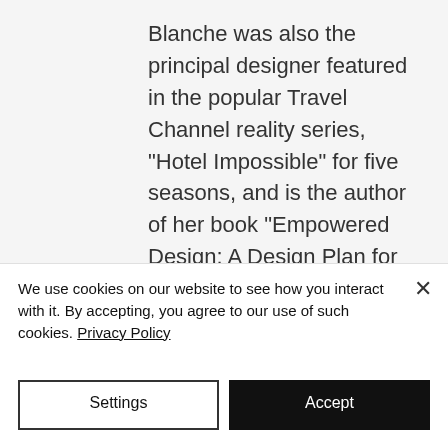Blanche was also the principal designer featured in the popular Travel Channel reality series, "Hotel Impossible" for five seasons, and is the author of her book “Empowered Design: A Design Plan for Living.” HGTV also named her one of their Faces of Design. Her client list ranges from celebrities, corporations...
We use cookies on our website to see how you interact with it. By accepting, you agree to our use of such cookies. Privacy Policy
Settings
Accept